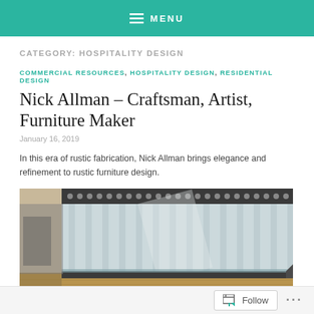MENU
CATEGORY: HOSPITALITY DESIGN
COMMERCIAL RESOURCES, HOSPITALITY DESIGN, RESIDENTIAL DESIGN
Nick Allman – Craftsman, Artist, Furniture Maker
January 16, 2019
In this era of rustic fabrication, Nick Allman brings elegance and refinement to rustic furniture design.
[Figure (photo): Close-up photograph of a glass-and-metal furniture piece, showing ribbed glass panels with metal framing, placed on a wooden surface in what appears to be a restaurant or design studio setting.]
Follow